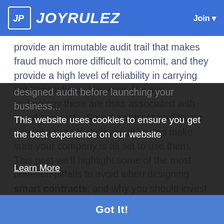JOYRULEZ | Join
provide an immutable audit trail that makes fraud much more difficult to commit, and they provide a high level of reliability in carrying out transactions. However, like any technology there are risks associated with smart contracts. Smart contract audits are one way to mitigate these risks and make sure your company is all set to use them. This post we'll highlight some of the most common pitfalls to avoid when designing smart contracts, and why you should invest in a well-designed audit before launching your business...
This website uses cookies to ensure you get the best experience on our website
Learn More
Got It!